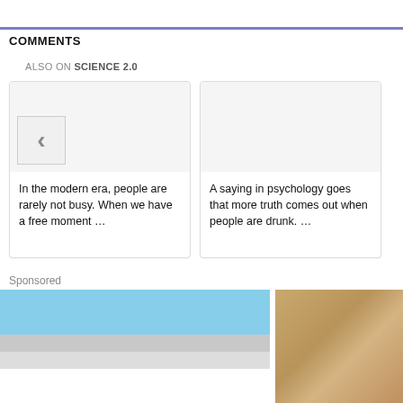COMMENTS
ALSO ON SCIENCE 2.0
[Figure (screenshot): Card 1 with left chevron arrow icon and text: In the modern era, people are rarely not busy. When we have a free moment ...]
[Figure (screenshot): Card 2 with blank image area and text: A saying in psychology goes that more truth comes out when people are drunk. ...]
Sponsored
[Figure (photo): Photo of a person in a red shirt working on the exterior of a house, installing or fixing something above a window. Blue sky visible.]
[Figure (photo): Photo of cracked dry earth or sand, brown/tan colored texture.]